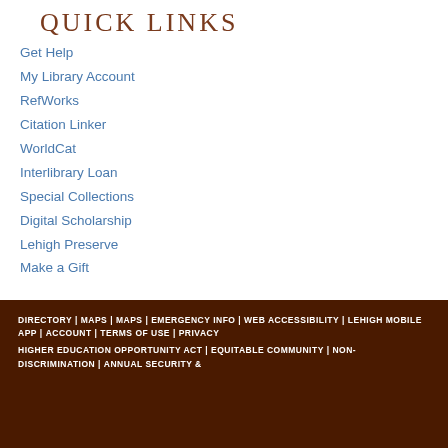Quick Links
Get Help
My Library Account
RefWorks
Citation Linker
WorldCat
Interlibrary Loan
Special Collections
Digital Scholarship
Lehigh Preserve
Make a Gift
ADMIN LOGIN
DIRECTORY | MAPS | MAPS | EMERGENCY INFO | WEB ACCESSIBILITY | LEHIGH MOBILE APP | ACCOUNT | TERMS OF USE | PRIVACY HIGHER EDUCATION OPPORTUNITY ACT | EQUITABLE COMMUNITY | NON-DISCRIMINATION | ANNUAL SECURITY &